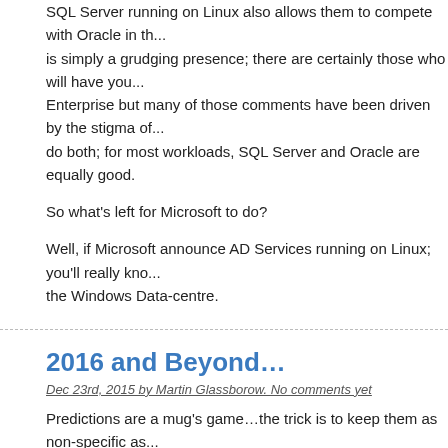SQL Server running on Linux also allows them to compete with Oracle in th... is simply a grudging presence; there are certainly those who will have you... Enterprise but many of those comments have been driven by the stigma of... do both; for most workloads, SQL Server and Oracle are equally good.
So what's left for Microsoft to do?
Well, if Microsoft announce AD Services running on Linux; you'll really kno... the Windows Data-centre.
2016 and Beyond…
Dec 23rd, 2015 by Martin Glassborow. No comments yet
Predictions are a mug's game…the trick is to keep them as non-specific as... here are mine!
What is the future for storage in the Enterprise? 2016 is going to pan out to... company integrations and mergers to complete with more to come so I hea... likely as well.
There will IPOs; they will be 'interesting'! People are looking for exits, espe... market that looks increasingly crowded with little to really tell between the p...